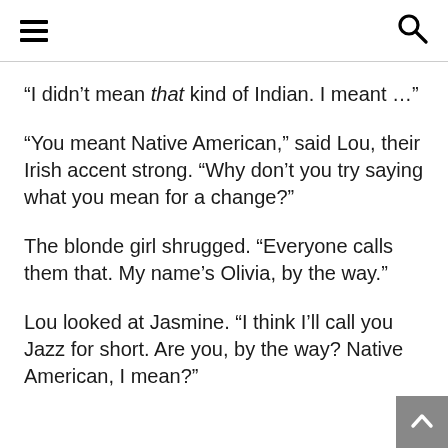[hamburger menu icon] [search icon]
“I didn’t mean that kind of Indian. I meant …”
“You meant Native American,” said Lou, their Irish accent strong. “Why don’t you try saying what you mean for a change?”
The blonde girl shrugged. “Everyone calls them that. My name’s Olivia, by the way.”
Lou looked at Jasmine. “I think I’ll call you Jazz for short. Are you, by the way? Native American, I mean?”